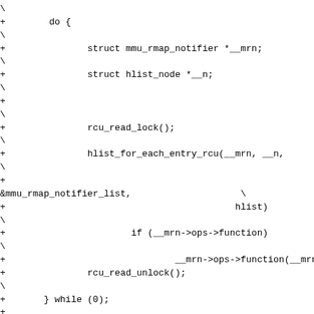\\\n+        do {\n\\\n+               struct mmu_rmap_notifier *__mrn;\n\\\n+               struct hlist_node *__n;\n\\\n+\n\\\n+               rcu_read_lock();\n\\\n+               hlist_for_each_entry_rcu(__mrn, __n,\n\\\n+\n&mmu_rmap_notifier_list,                    \\\n+                                          hlist)\n\\\n+                       if (__mrn->ops->function)\n\\\n+                               __mrn->ops->function(__mrn, args); \\\n+               rcu_read_unlock();\n\\\n+       } while (0);\n+\n+#else /* CONFIG_MMU_NOTIFIER */\n+\n+/*\n+ * Notifiers that use the parameters that they were passed so that the